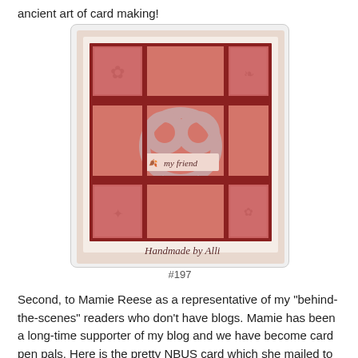ancient art of card making!
[Figure (photo): A handmade greeting card featuring a red and pink grid layout with decorative patterned squares, a heart-shaped wreath embellishment with pearls and flowers, a ribbon banner reading 'my friend', and the text 'Handmade by Alli' at the bottom.]
#197
Second, to Mamie Reese as a representative of my "behind-the-scenes" readers who don't have blogs. Mamie has been a long-time supporter of my blog and we have become card pen pals. Here is the pretty NBUS card which she mailed to